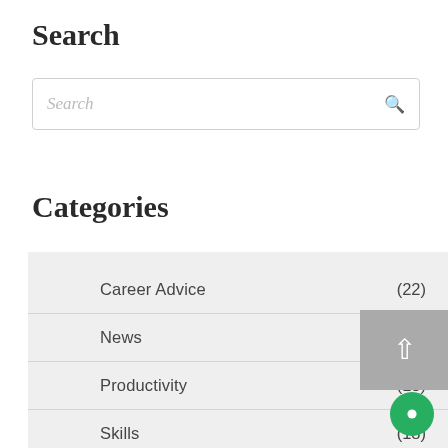Search
[Figure (other): Search input box with placeholder text 'Search' and a search icon on the right]
Categories
Career Advice (22)
News (13)
Productivity (18)
Skills (18)
Uncategorized (3)